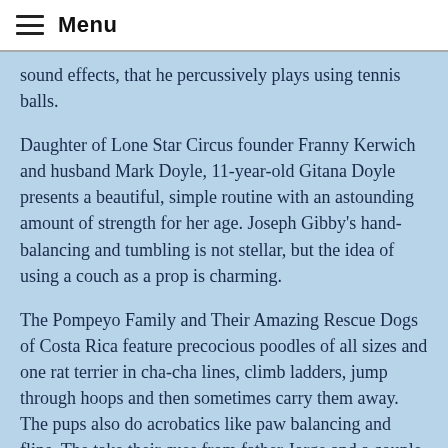Menu
sound effects, that he percussively plays using tennis balls.
Daughter of Lone Star Circus founder Franny Kerwich and husband Mark Doyle, 11-year-old Gitana Doyle presents a beautiful, simple routine with an astounding amount of strength for her age. Joseph Gibby’s hand-balancing and tumbling is not stellar, but the idea of using a couch as a prop is charming.
The Pompeyo Family and Their Amazing Rescue Dogs of Costa Rica feature precocious poodles of all sizes and one rat terrier in cha-cha lines, climb ladders, jump through hoops and then sometimes carry them away. The pups also do acrobatics like paw balancing and flips. The take their cues from father Jorge and a couple of adorable kids.